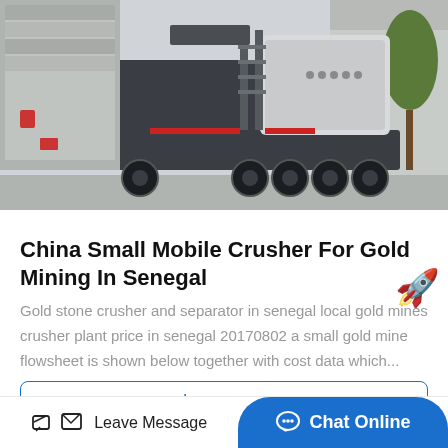[Figure (photo): A large mobile crusher machine for gold mining mounted on a heavy truck/trailer, photographed in a yard. The machine is dark grey with white components and features conveyor belts, a hopper, and large tires.]
China Small Mobile Crusher For Gold Mining In Senegal
Gold stone crusher and separator in senegal local gold mines crusher plant price in senegal 20170802 a small gold mine flowsheet is shown below together with cost data which...
learn more
Leave Message
Chat Online